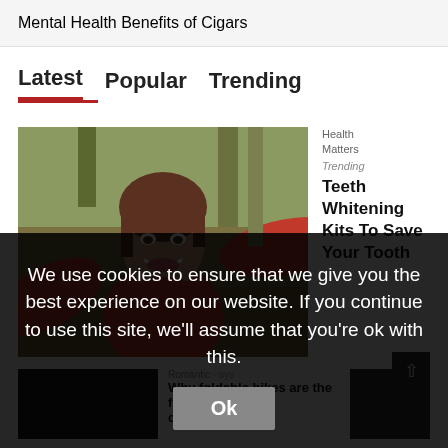Mental Health Benefits of Cigars
Latest   Popular   Trending
[Figure (photo): Woman in a red jacket smiling with arms raised outdoors in a field with autumn trees]
Health Matters
Trending
Teeth Whitening Kits To Save Your Tooth
[Figure (photo): Dark bottom-left image thumbnail]
Romantic
Why foldable bikes are the future cycling
[Figure (photo): Dark bottom-right image thumbnail]
We use cookies to ensure that we give you the best experience on our website. If you continue to use this site, we'll assume that you're ok with this.